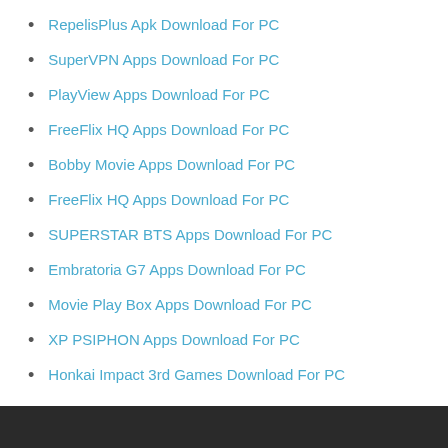RepelisPlus Apk Download For PC
SuperVPN Apps Download For PC
PlayView Apps Download For PC
FreeFlix HQ Apps Download For PC
Bobby Movie Apps Download For PC
FreeFlix HQ Apps Download For PC
SUPERSTAR BTS Apps Download For PC
Embratoria G7 Apps Download For PC
Movie Play Box Apps Download For PC
XP PSIPHON Apps Download For PC
Honkai Impact 3rd Games Download For PC